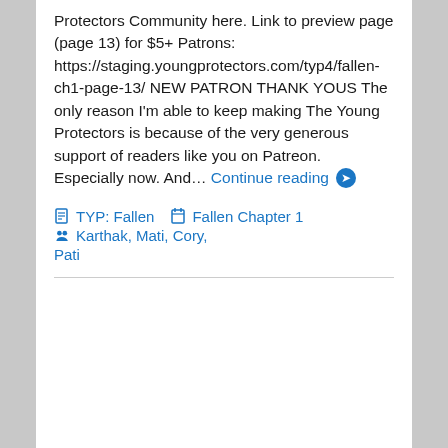Protectors Community here. Link to preview page (page 13) for $5+ Patrons: https://staging.youngprotectors.com/typ4/fallen-ch1-page-13/ NEW PATRON THANK YOUS The only reason I'm able to keep making The Young Protectors is because of the very generous support of readers like you on Patreon. Especially now. And… Continue reading ❯
🖼 TYP: Fallen   📋 Fallen Chapter 1   👥 Karthak, Mati, Cory, Pati